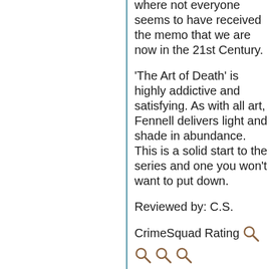where not everyone seems to have received the memo that we are now in the 21st Century.
'The Art of Death' is highly addictive and satisfying. As with all art, Fennell delivers light and shade in abundance. This is a solid start to the series and one you won't want to put down.
Reviewed by: C.S.
CrimeSquad Rating
[Figure (illustration): Four magnifying glass icons representing a CrimeSquad rating, arranged in a row — one fully visible at top right inline with 'Rating' text, and three more below partially visible at page bottom.]